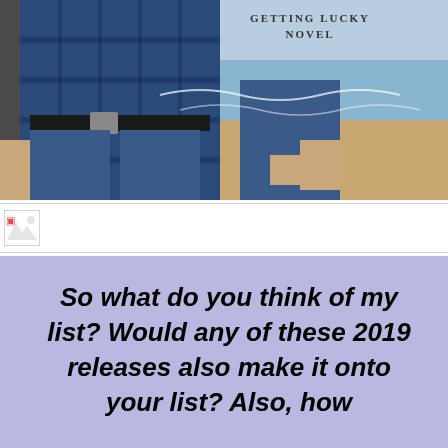[Figure (photo): Two people standing on a beach, one wearing a blue plaid shirt and jeans, the other in jeans; text at top right reads 'GETTING LUCKY NOVEL']
[Figure (photo): Small broken/placeholder image icon with border]
So what do you think of my list? Would any of these 2019 releases also make it onto your list? Also, how